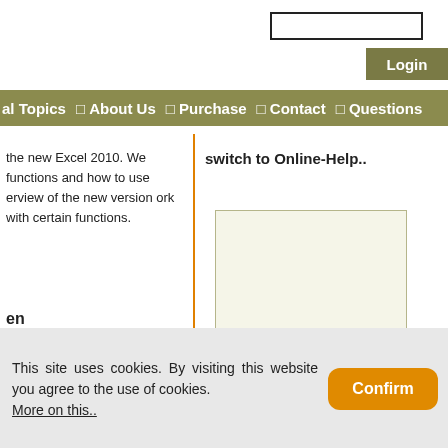[Figure (screenshot): Search input box at top right]
[Figure (screenshot): Login button, olive/khaki colored]
al Topics  About Us  Purchase  Contact  Questions
the new Excel 2010. We functions and how to use erview of the new version ork with certain functions.
switch to Online-Help..
[Figure (screenshot): Light green/cream colored image placeholder box]
en
| Length | Info |
| --- | --- |
This site uses cookies. By visiting this website you agree to the use of cookies. More on this..